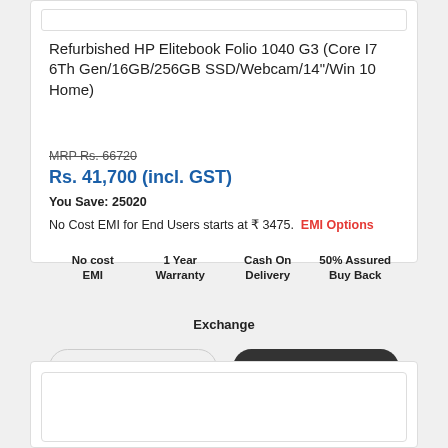[Figure (other): Image placeholder at top of product card]
Refurbished HP Elitebook Folio 1040 G3 (Core I7 6Th Gen/16GB/256GB SSD/Webcam/14"/Win 10 Home)
MRP Rs. 66720
Rs. 41,700 (incl. GST)
You Save: 25020
No Cost EMI for End Users starts at ₹ 3475.  EMI Options
No cost EMI  1 Year Warranty  Cash On Delivery  50% Assured Buy Back  Exchange
Add to Wishlist
Add to Cart
[Figure (other): Bottom card image placeholder]